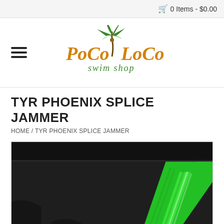0 Items - $0.00
[Figure (logo): Poco Loco Swim Shop logo with palm tree, orange and green text]
TYR PHOENIX SPLICE JAMMER
HOME / TYR PHOENIX SPLICE JAMMER
[Figure (photo): Close-up photo of TYR Phoenix Splice Jammer swimwear in black with green diagonal splice design]